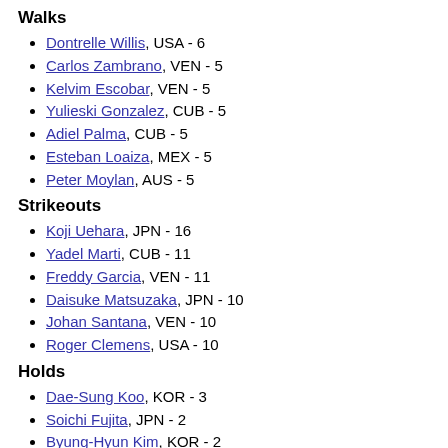Walks
Dontrelle Willis, USA - 6
Carlos Zambrano, VEN - 5
Kelvim Escobar, VEN - 5
Yulieski Gonzalez, CUB - 5
Adiel Palma, CUB - 5
Esteban Loaiza, MEX - 5
Peter Moylan, AUS - 5
Strikeouts
Koji Uehara, JPN - 16
Yadel Marti, CUB - 11
Freddy Garcia, VEN - 11
Daisuke Matsuzaka, JPN - 10
Johan Santana, VEN - 10
Roger Clemens, USA - 10
Holds
Dae-Sung Koo, KOR - 3
Soichi Fujita, JPN - 2
Byung-Hyun Kim, KOR - 2
Carlos Silva, VEN - 2
Pedro Feliciano, PUR - 2